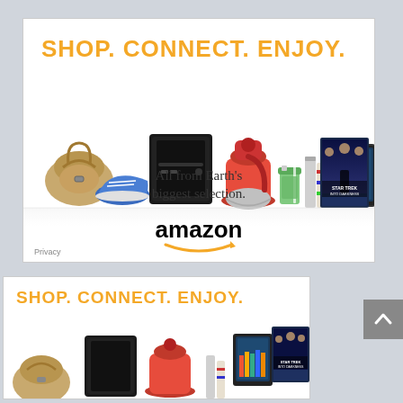[Figure (illustration): Amazon advertisement banner (large). Orange bold headline 'SHOP. CONNECT. ENJOY.' above a collage of products (handbag, gaming console, KitchenAid mixer, sneakers, green smoothie, silver bottles/books, Kindle tablet, Star Trek movie blu-ray). Below products: 'All from Earth's biggest selection.' in serif font, then Amazon logo with smile arrow. Privacy link in bottom-left corner.]
[Figure (illustration): Amazon advertisement banner (small, partial). Same orange bold headline 'SHOP. CONNECT. ENJOY.' with same product collage partially visible below.]